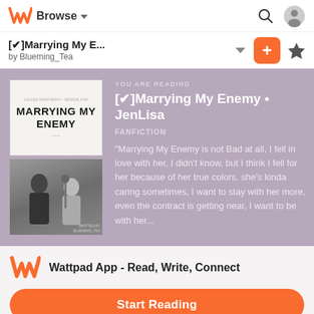Browse
[✔]Marrying My E... by Blueming_Tea
[Figure (screenshot): Wattpad story banner showing book cover for 'Marrying My Enemy' with two photo panels and story info on a mauve/purple background]
YOU ARE READING
[✔]Marrying My Enemy • JenLisa
FANFICTION
"Marrying My Enemy is not Bad at all, I fell in love with her, I didn't know, but I think I fell for her because of her true colors, she's kinda caring sometimes, I want to stay with her more, even the contract is getting near, I want to be with her...
Wattpad App - Read, Write, Connect
Start Reading
Log in with Browser